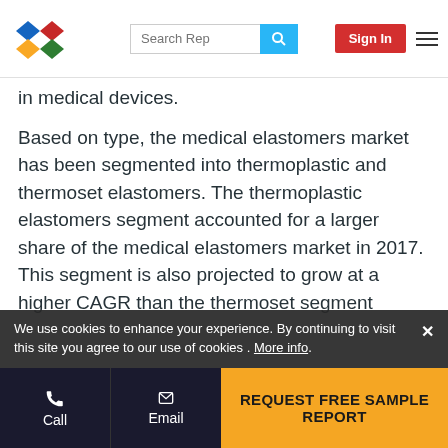Search Rep | Sign In | Navigation menu
in medical devices.
Based on type, the medical elastomers market has been segmented into thermoplastic and thermoset elastomers. The thermoplastic elastomers segment accounted for a larger share of the medical elastomers market in 2017. This segment is also projected to grow at a higher CAGR than the thermoset segment during the forecast period. The growth of thermoplastic elastomers is attributed to their increased demand in the manufacturing of medical tubes, catheters, medical bags, and other devices.
Based on application, the medical elastomers market has been segmented into medical tubes, catheters, syringes, gloves, medical bags, and others. The medical
We use cookies to enhance your experience. By continuing to visit this site you agree to our use of cookies . More info.
Call | Email | REQUEST FREE SAMPLE REPORT